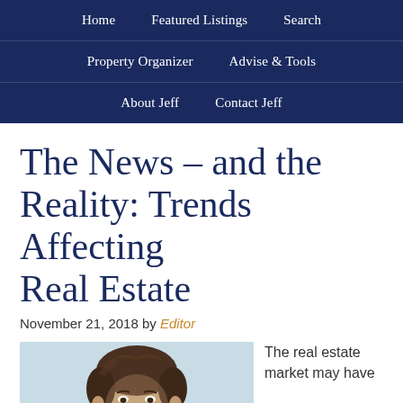Home   Featured Listings   Search   Property Organizer   Advise & Tools   About Jeff   Contact Jeff
The News – and the Reality: Trends Affecting Real Estate
November 21, 2018 by Editor
[Figure (photo): Headshot photo of a young man with brown hair against a light blue background]
The real estate market may have